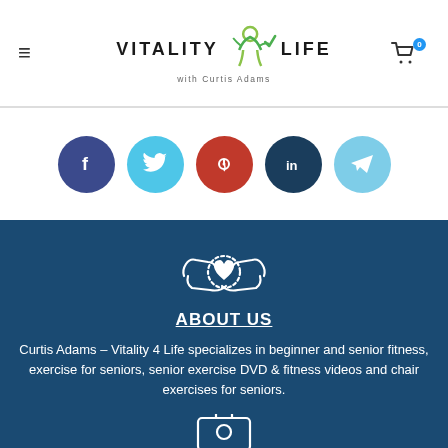Vitality Life with Curtis Adams — navigation header with hamburger menu and cart icon (badge: 0)
[Figure (illustration): Five social media icon circles in a row: Facebook (dark blue), Twitter (light blue), Pinterest (red), LinkedIn (dark navy), Telegram (light blue)]
[Figure (illustration): White outline icon of two hands holding a heart, on dark blue background]
ABOUT US
Curtis Adams – Vitality 4 Life specializes in beginner and senior fitness, exercise for seniors, senior exercise DVD & fitness videos and chair exercises for seniors.
[Figure (illustration): Partial white outline icon visible at bottom, appears to be a certificate or document icon]